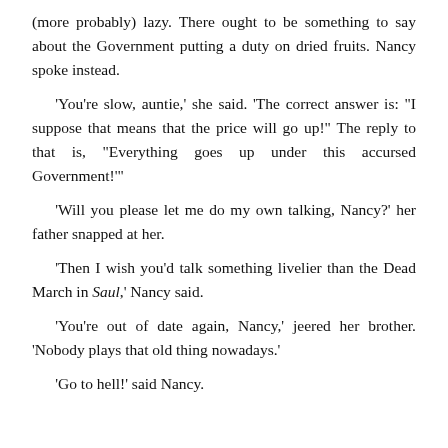(more probably) lazy. There ought to be something to say about the Government putting a duty on dried fruits. Nancy spoke instead.
'You're slow, auntie,' she said. 'The correct answer is: "I suppose that means that the price will go up!" The reply to that is, "Everything goes up under this accursed Government!"'
'Will you please let me do my own talking, Nancy?' her father snapped at her.
'Then I wish you'd talk something livelier than the Dead March in Saul,' Nancy said.
'You're out of date again, Nancy,' jeered her brother. 'Nobody plays that old thing nowadays.'
'Go to hell!' said Nancy.